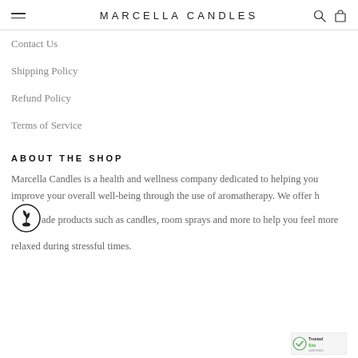MARCELLA CANDLES
Contact Us
Shipping Policy
Refund Policy
Terms of Service
ABOUT THE SHOP
Marcella Candles is a health and wellness company dedicated to helping you improve your overall well-being through the use of aromatherapy. We offer homemade products such as candles, room sprays and more to help you feel more relaxed during stressful times.
[Figure (logo): Sprout/seedling circle logo icon (TrustedSite badge)]